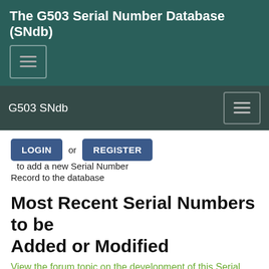The G503 Serial Number Database (SNdb)
G503 SNdb
LOGIN or REGISTER to add a new Serial Number Record to the database
Most Recent Serial Numbers to be Added or Modified
View the forum topic on the development of this Serial Number Database (opens in new tab)
| Jeep Type | Serial Number | Last Updated (UTC) | Name | City | State/Pro |
| --- | --- | --- | --- | --- | --- |